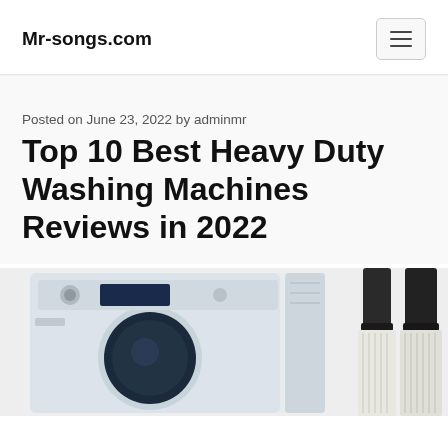Mr-songs.com
Posted on June 23, 2022 by adminmr
Top 10 Best Heavy Duty Washing Machines Reviews in 2022
[Figure (photo): Product photo showing a white front-load washing machine on the left and what appears to be cleaning brush tools on the right, against a light grey background.]